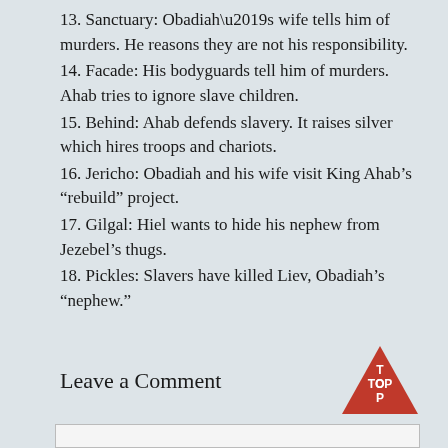13. Sanctuary: Obadiah’s wife tells him of murders. He reasons they are not his responsibility.
14. Facade: His bodyguards tell him of murders. Ahab tries to ignore slave children.
15. Behind: Ahab defends slavery. It raises silver which hires troops and chariots.
16. Jericho: Obadiah and his wife visit King Ahab’s “rebuild” project.
17. Gilgal: Hiel wants to hide his nephew from Jezebel’s thugs.
18. Pickles: Slavers have killed Liev, Obadiah’s “nephew.”
Leave a Comment
[Figure (other): Red triangle TOP button (scroll to top navigation button) with white text reading TOP]